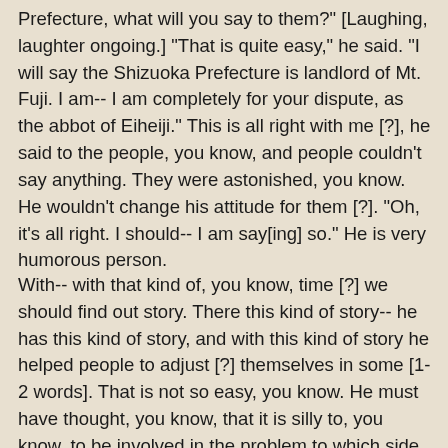Prefecture, what will you say to them?" [Laughing, laughter ongoing.] "That is quite easy," he said. "I will say the Shizuoka Prefecture is landlord of Mt. Fuji. I am-- I am completely for your dispute, as the abbot of Eiheiji." This is all right with me [?], he said to the people, you know, and people couldn't say anything. They were astonished, you know. He wouldn't change his attitude for them [?]. "Oh, it's all right. I should-- I am say[ing] so." He is very humorous person.
With-- with that kind of, you know, time [?] we should find out story. There this kind of story-- he has this kind of story, and with this kind of story he helped people to adjust [?] themselves in some [1-2 words]. That is not so easy, you know. He must have thought, you know, that it is silly to, you know, to be involved in the problem to which side, you know, the shrine belongs to. It is very silly. So he was laughing at them. That is so-called-it "it s so hum n t d li" what b coming